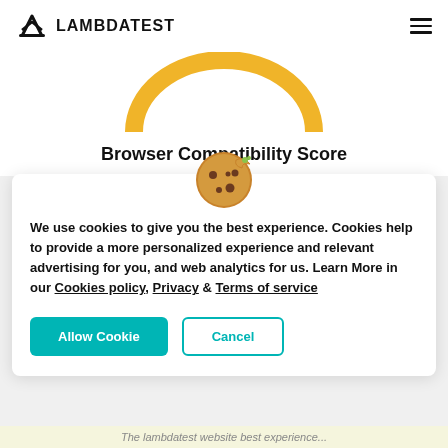LAMBDATEST
Browser Compatibility Score
[Figure (illustration): Cookie emoji illustration centered above the cookie consent modal]
We use cookies to give you the best experience. Cookies help to provide a more personalized experience and relevant advertising for you, and web analytics for us. Learn More in our Cookies policy, Privacy & Terms of service
Allow Cookie   Cancel